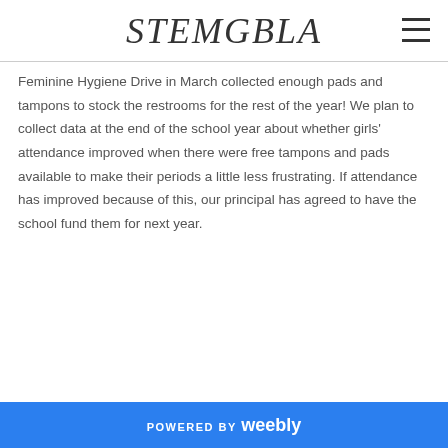STEMGBLA
Feminine Hygiene Drive in March collected enough pads and tampons to stock the restrooms for the rest of the year! We plan to collect data at the end of the school year about whether girls' attendance improved when there were free tampons and pads available to make their periods a little less frustrating. If attendance has improved because of this, our principal has agreed to have the school fund them for next year.
POWERED BY weebly